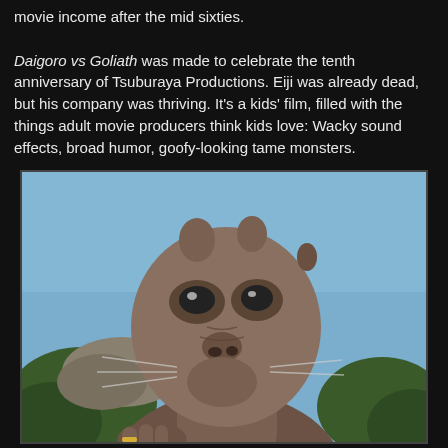movie income after the mid sixties. Daigoro vs Goliath was made to celebrate the tenth anniversary of Tsuburaya Productions. Eiji was already dead, but his company was thriving. It's a kids' film, filled with the things adult movie producers think kids love: Wacky sound effects, broad humor, goofy-looking tame monsters.
[Figure (photo): A close-up photo of a monster costume (kaiju) from a Japanese film, resembling a humanoid creature with a wrinkled, cat-like or rodent-like face, looking upward against a blue sky with trees in the background.]